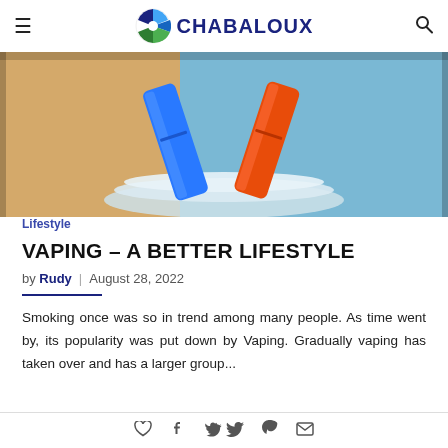CHABALOUX
[Figure (photo): Two vape devices (blue and orange) leaning against each other on a white plastic container, with a warm beige and light blue background.]
Lifestyle
VAPING – A BETTER LIFESTYLE
by Rudy | August 28, 2022
Smoking once was so in trend among many people. As time went by, its popularity was put down by Vaping. Gradually vaping has taken over and has a larger group...